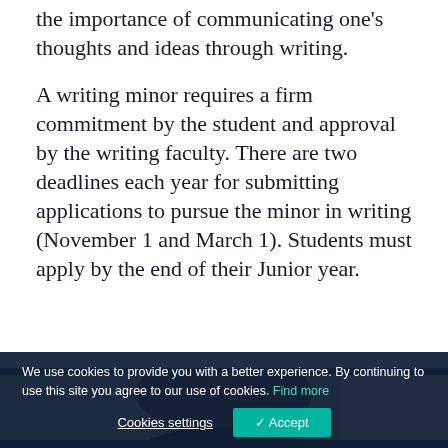the importance of communicating one's thoughts and ideas through writing.
A writing minor requires a firm commitment by the student and approval by the writing faculty. There are two deadlines each year for submitting applications to pursue the minor in writing (November 1 and March 1). Students must apply by the end of their Junior year.
[Figure (photo): Partial photo of a person with braided hair, seen from behind/above, wearing a dark top. Background is light/cream colored.]
We use cookies to provide you with a better experience. By continuing to use this site you agree to our use of cookies. Find more